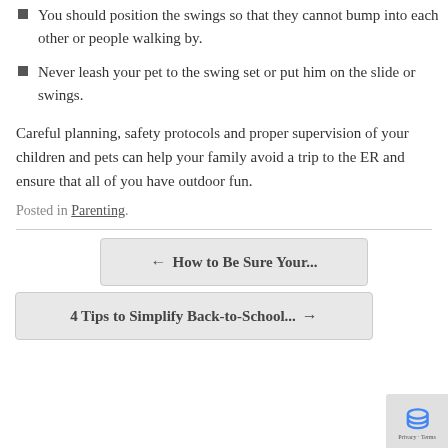You should position the swings so that they cannot bump into each other or people walking by.
Never leash your pet to the swing set or put him on the slide or swings.
Careful planning, safety protocols and proper supervision of your children and pets can help your family avoid a trip to the ER and ensure that all of you have outdoor fun.
Posted in Parenting.
← How to Be Sure Your...
4 Tips to Simplify Back-to-School... →